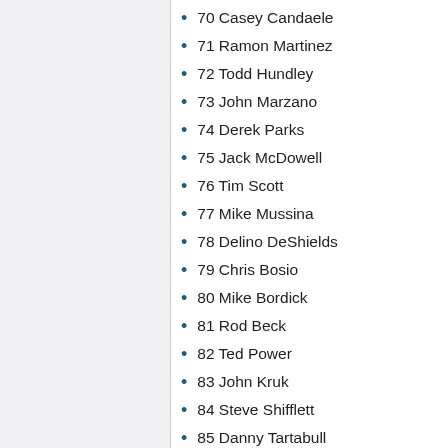70 Casey Candaele
71 Ramon Martinez
72 Todd Hundley
73 John Marzano
74 Derek Parks
75 Jack McDowell
76 Tim Scott
77 Mike Mussina
78 Delino DeShields
79 Chris Bosio
80 Mike Bordick
81 Rod Beck
82 Ted Power
83 John Kruk
84 Steve Shifflett
85 Danny Tartabull
86 Mike Greenwell
87 Jose Melendez